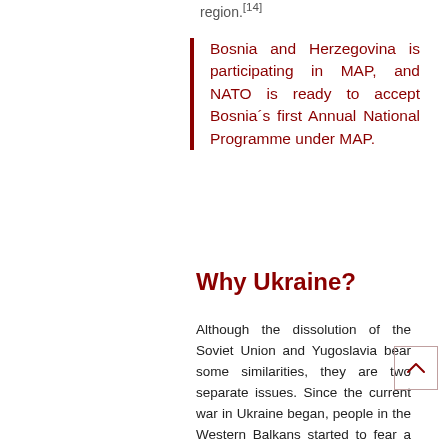region.[14]
Bosnia and Herzegovina is participating in MAP, and NATO is ready to accept Bosnia´s first Annual National Programme under MAP.
Why Ukraine?
Although the dissolution of the Soviet Union and Yugoslavia bear some similarities, they are two separate issues. Since the current war in Ukraine began, people in the Western Balkans started to fear a possible outbreak of another